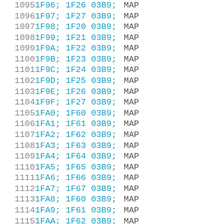| line | code | keyword |
| --- | --- | --- |
| 1095 | 1F96; 1F26 03B9; | MAP |
| 1096 | 1F97; 1F27 03B9; | MAP |
| 1097 | 1F98; 1F20 03B9; | MAP |
| 1098 | 1F99; 1F21 03B9; | MAP |
| 1099 | 1F9A; 1F22 03B9; | MAP |
| 1100 | 1F9B; 1F23 03B9; | MAP |
| 1101 | 1F9C; 1F24 03B9; | MAP |
| 1102 | 1F9D; 1F25 03B9; | MAP |
| 1103 | 1F9E; 1F26 03B9; | MAP |
| 1104 | 1F9F; 1F27 03B9; | MAP |
| 1105 | 1FA0; 1F60 03B9; | MAP |
| 1106 | 1FA1; 1F61 03B9; | MAP |
| 1107 | 1FA2; 1F62 03B9; | MAP |
| 1108 | 1FA3; 1F63 03B9; | MAP |
| 1109 | 1FA4; 1F64 03B9; | MAP |
| 1110 | 1FA5; 1F65 03B9; | MAP |
| 1111 | 1FA6; 1F66 03B9; | MAP |
| 1112 | 1FA7; 1F67 03B9; | MAP |
| 1113 | 1FA8; 1F60 03B9; | MAP |
| 1114 | 1FA9; 1F61 03B9; | MAP |
| 1115 | 1FAA; 1F62 03B9; | MAP |
| 1116 | 1FAB; 1F63 03B9; | MAP |